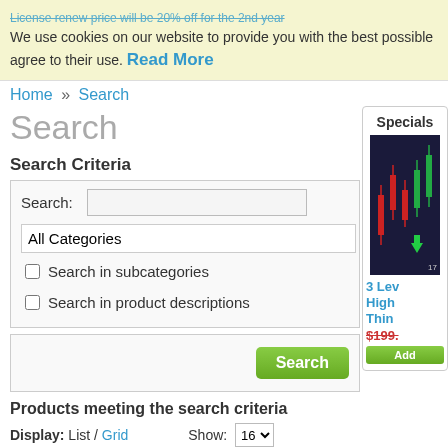We use cookies on our website to provide you with the best possible agree to their use. Read More
Home » Search
Search
Search Criteria
Search: [input] All Categories [dropdown] Search in subcategories [checkbox] Search in product descriptions [checkbox]
Search [button]
Products meeting the search criteria
Display: List / Grid   Show: 16 ▼
Sort By: Date (New > Old) ▼
Specials
3 Lev High Thin
$199.
Add